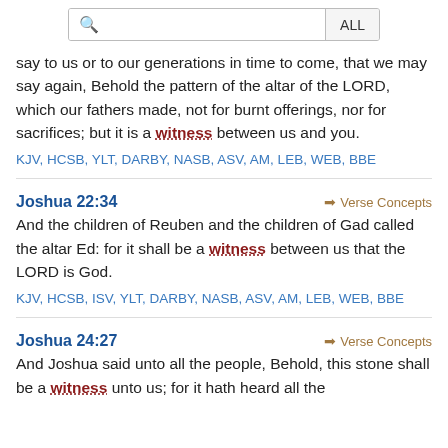[Figure (screenshot): Search bar with magnifying glass icon and ALL button]
say to us or to our generations in time to come, that we may say again, Behold the pattern of the altar of the LORD, which our fathers made, not for burnt offerings, nor for sacrifices; but it is a witness between us and you.
KJV, HCSB, YLT, DARBY, NASB, ASV, AM, LEB, WEB, BBE
Joshua 22:34
Verse Concepts
And the children of Reuben and the children of Gad called the altar Ed: for it shall be a witness between us that the LORD is God.
KJV, HCSB, ISV, YLT, DARBY, NASB, ASV, AM, LEB, WEB, BBE
Joshua 24:27
Verse Concepts
And Joshua said unto all the people, Behold, this stone shall be a witness unto us; for it hath heard all the